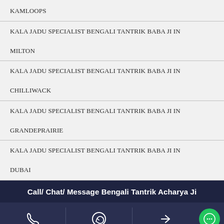KAMLOOPS
KALA JADU SPECIALIST BENGALI TANTRIK BABA JI IN MILTON
KALA JADU SPECIALIST BENGALI TANTRIK BABA JI IN CHILLIWACK
KALA JADU SPECIALIST BENGALI TANTRIK BABA JI IN GRANDEPRAIRIE
KALA JADU SPECIALIST BENGALI TANTRIK BABA JI IN DUBAI
Call/ Chat/ Message Bengali Tantrik Acharya Ji
[Figure (infographic): Icon bar with phone, WhatsApp, share, and chat icons on dark navy background]